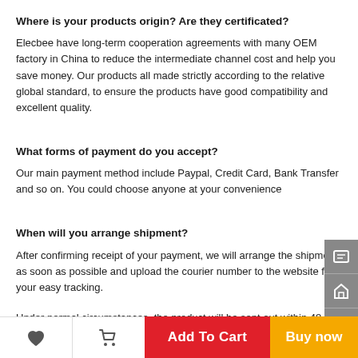Where is your products origin? Are they certificated?
Elecbee have long-term cooperation agreements with many OEM factory in China to reduce the intermediate channel cost and help you save money. Our products all made strictly according to the relative global standard, to ensure the products have good compatibility and excellent quality.
What forms of payment do you accept?
Our main payment method include Paypal, Credit Card, Bank Transfer and so on. You could choose anyone at your convenience
When will you arrange shipment?
After confirming receipt of your payment, we will arrange the shipment as soon as possible and upload the courier number to the website for your easy tracking.
Under normal circumstances, the product will be sent out within 48 hours, if the package cannot be send out timely due to special circumstances, we will contact